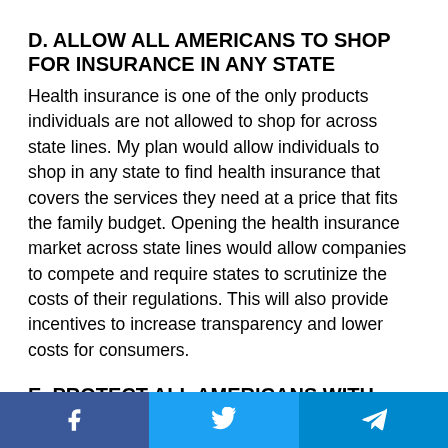D. ALLOW ALL AMERICANS TO SHOP FOR INSURANCE IN ANY STATE
Health insurance is one of the only products individuals are not allowed to shop for across state lines. My plan would allow individuals to shop in any state to find health insurance that covers the services they need at a price that fits the family budget. Opening the health insurance market across state lines would allow companies to compete and require states to scrutinize the costs of their regulations. This will also provide incentives to increase transparency and lower costs for consumers.
E. PROTECT ALL AMERICANS WITH PRE-
[Figure (other): Social share buttons bar: Facebook (blue), Twitter (light blue), Telegram (blue)]